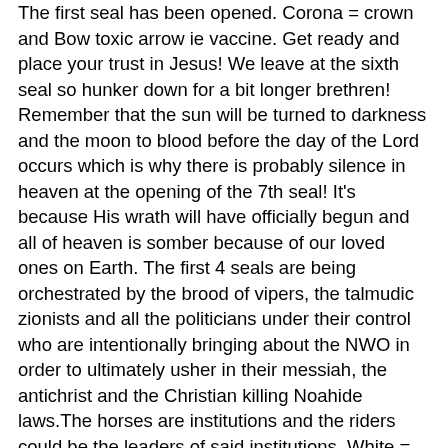The first seal has been opened. Corona = crown and Bow toxic arrow ie vaccine. Get ready and place your trust in Jesus! We leave at the sixth seal so hunker down for a bit longer brethren! Remember that the sun will be turned to darkness and the moon to blood before the day of the Lord occurs which is why there is probably silence in heaven at the opening of the 7th seal! It's because His wrath will have officially begun and all of heaven is somber because of our loved ones on Earth. The first 4 seals are being orchestrated by the brood of vipers, the talmudic zionists and all the politicians under their control who are intentionally bringing about the NWO in order to ultimately usher in their messiah, the antichrist and the Christian killing Noahide laws.The horses are institutions and the riders could be the leaders of said institutions. White = the medical institution playing savior and its rider is Fauci, Red = technology (5G will activate the vaxxed esp when they get the booster this fall) and its rider is Elon Musk, Black = financial and it's rider could be Klaus Schwab. Pale = a